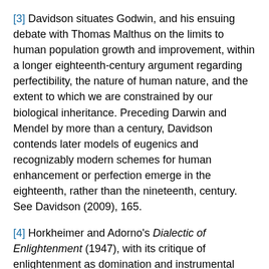[3] Davidson situates Godwin, and his ensuing debate with Thomas Malthus on the limits to human population growth and improvement, within a longer eighteenth-century argument regarding perfectibility, the nature of human nature, and the extent to which we are constrained by our biological inheritance. Preceding Darwin and Mendel by more than a century, Davidson contends later models of eugenics and recognizably modern schemes for human enhancement or perfection emerge in the eighteenth, rather than the nineteenth, century. See Davidson (2009), 165.
[4] Horkheimer and Adorno's Dialectic of Enlightenment (1947), with its critique of enlightenment as domination and instrumental rationality, is the classic text here.
[5] Benjamin famously argues for the emancipatory potential of mechanical reproducibility—of the image—in new visual media